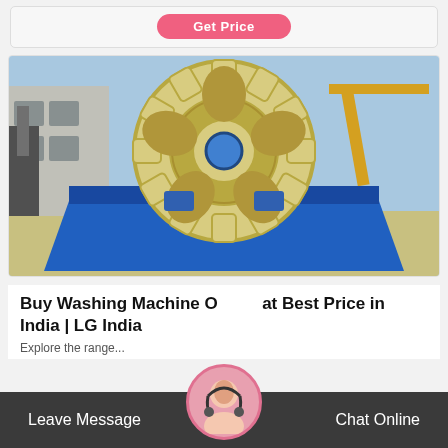[Figure (other): Get Price button bar with pink rounded button]
[Figure (photo): Large industrial sand washing machine with blue metal trough and cream/yellow gear wheel, photographed in an outdoor industrial yard]
Buy Washing Machine Online at Best Price in India | LG India
Explore the range...
[Figure (photo): Chat Online bar at bottom with customer service avatar, Leave Message on left, Chat Online on right]